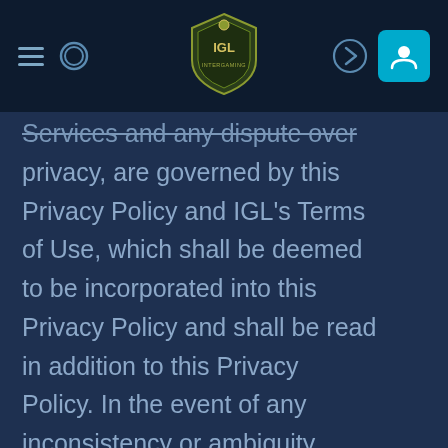IGL Intergaming — Navigation bar with hamburger menu, search, logo, login, and user account icons
Services and any dispute over privacy, are governed by this Privacy Policy and IGL's Terms of Use, which shall be deemed to be incorporated into this Privacy Policy and shall be read in addition to this Privacy Policy. In the event of any inconsistency or ambiguity arising between the Terms of